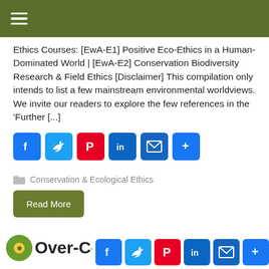≡
Ethics Courses: [EwA-E1] Positive Eco-Ethics in a Human-Dominated World | [EwA-E2] Conservation Biodiversity Research & Field Ethics [Disclaimer] This compilation only intends to list a few mainstream environmental worldviews. We invite our readers to explore the few references in the 'Further [...]
[Figure (infographic): Social sharing buttons: Facebook, Twitter, Pinterest, LinkedIn, Email, Share]
Conservation & Ecological Ethics
Read More
Over-Collecting (Mushrooms)
[Figure (infographic): Social sharing buttons overlaid at bottom: Facebook, Twitter, Pinterest, LinkedIn, Email, Share]